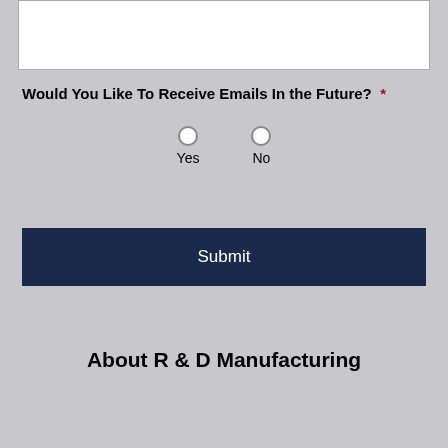[Figure (other): White input text box area at top of form]
Would You Like To Receive Emails In the Future?  *
[Figure (other): Radio button options: Yes and No]
[Figure (other): Submit button, dark navy blue background with white text]
About R & D Manufacturing